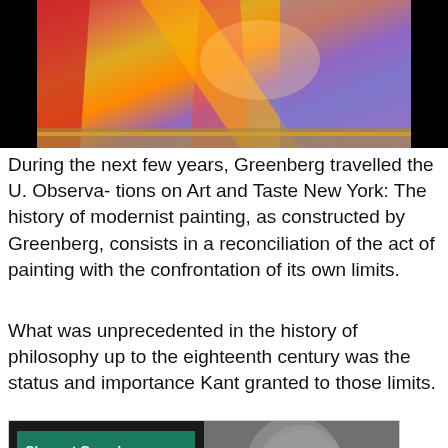[Figure (photo): A colorful abstract painting/artwork visible against a black background at the top of the page]
During the next few years, Greenberg travelled the U. Observa- tions on Art and Taste New York: The history of modernist painting, as constructed by Greenberg, consists in a reconciliation of the act of painting with the confrontation of its own limits.
What was unprecedented in the history of philosophy up to the eighteenth century was the status and importance Kant granted to those limits.
[Figure (photo): Book cover of 'Clement Greenberg: The Collected Essays and Criticism' with teal and black title bars on left and a black-and-white portrait photograph of Clement Greenberg on the right]